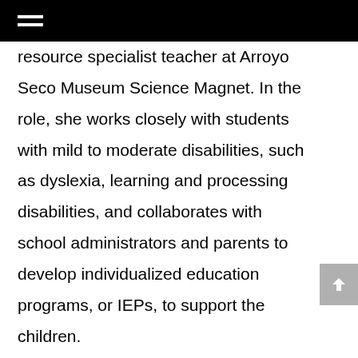resource specialist teacher at Arroyo Seco Museum Science Magnet. In the role, she works closely with students with mild to moderate disabilities, such as dyslexia, learning and processing disabilities, and collaborates with school administrators and parents to develop individualized education programs, or IEPs, to support the children.

Searcy-Ernsdorf earned an education specialist credential in mild/moderate disabilities from Cal State